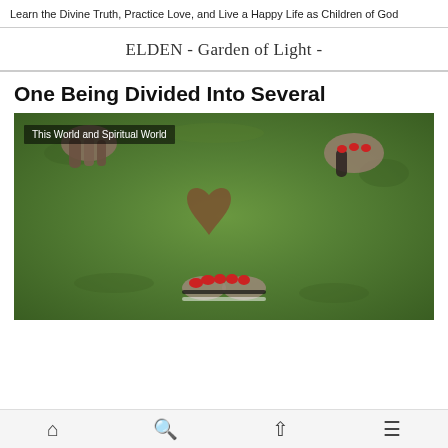Learn the Divine Truth, Practice Love, and Live a Happy Life as Children of God
ELDEN - Garden of Light -
One Being Divided Into Several
[Figure (photo): Aerial view of multiple pairs of feet in sandals standing on green grass around a heart-shaped brown leaf, with a label overlay reading 'This World and Spiritual World']
Home | Search | Up | Menu